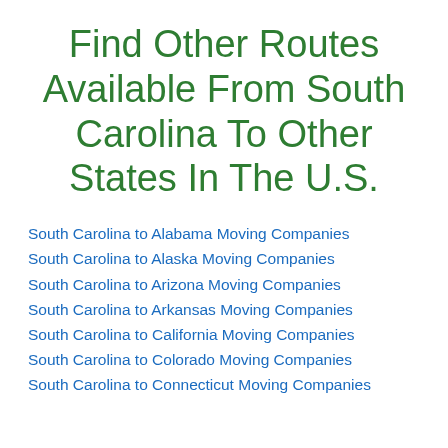Find Other Routes Available From South Carolina To Other States In The U.S.
South Carolina to Alabama Moving Companies
South Carolina to Alaska Moving Companies
South Carolina to Arizona Moving Companies
South Carolina to Arkansas Moving Companies
South Carolina to California Moving Companies
South Carolina to Colorado Moving Companies
South Carolina to Connecticut Moving Companies